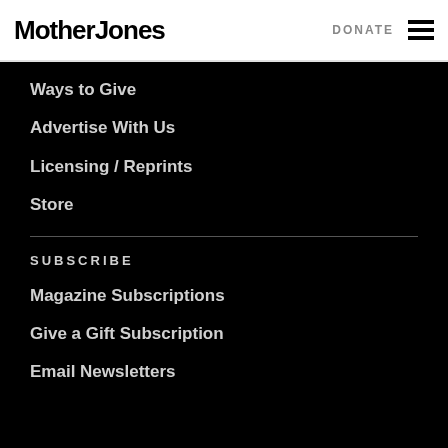Mother Jones | DONATE
Ways to Give
Advertise With Us
Licensing / Reprints
Store
SUBSCRIBE
Magazine Subscriptions
Give a Gift Subscription
Email Newsletters